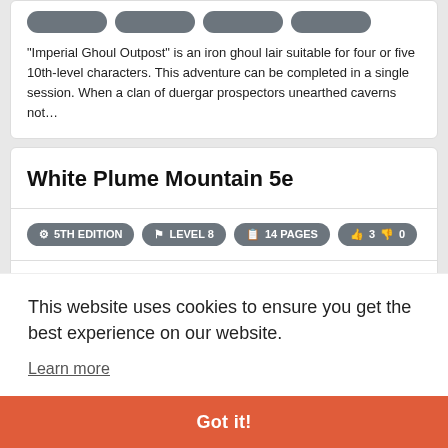"Imperial Ghoul Outpost" is an iron ghoul lair suitable for four or five 10th-level characters. This adventure can be completed in a single session. When a clan of duergar prospectors unearthed caverns not...
White Plume Mountain 5e
5TH EDITION  LEVEL 8  14 PAGES  3  0
Three artifact weapons have gone missing and you adventurers have been sent after them. Going only by the riddle left on the thief's note,
This website uses cookies to ensure you get the best experience on our website.
Learn more
Got it!
0  0